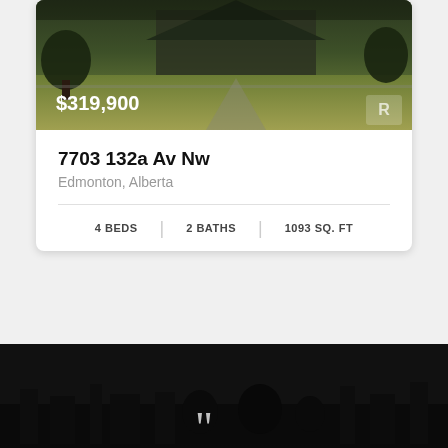[Figure (photo): Exterior photo of a residential property with green lawn and house in background, price overlay showing $319,900]
7703 132a Av Nw
Edmonton, Alberta
4 BEDS | 2 BATHS | 1093 SQ. FT
Page 1 of 2 >
[Figure (photo): Dark background section with skyline silhouette and large opening quotation marks]